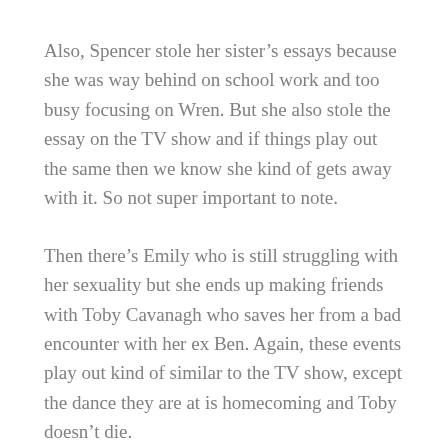Also, Spencer stole her sister's essays because she was way behind on school work and too busy focusing on Wren. But she also stole the essay on the TV show and if things play out the same then we know she kind of gets away with it. So not super important to note.
Then there's Emily who is still struggling with her sexuality but she ends up making friends with Toby Cavanagh who saves her from a bad encounter with her ex Ben. Again, these events play out kind of similar to the TV show, except the dance they are at is homecoming and Toby doesn't die.
I gotta tell you I was not expecting Toby to commit suicide. Like in the TV show he is Spencer's main